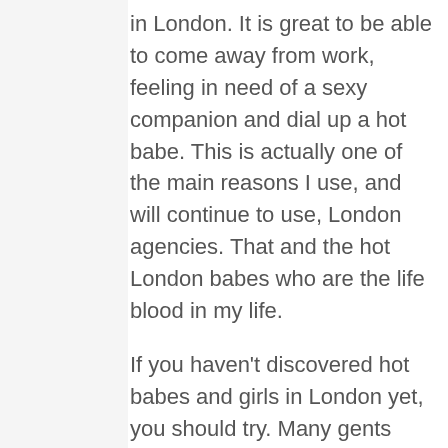in London. It is great to be able to come away from work, feeling in need of a sexy companion and dial up a hot babe. This is actually one of the main reasons I use, and will continue to use, London agencies. That and the hot London babes who are the life blood in my life.

If you haven't discovered hot babes and girls in London yet, you should try. Many gents dream of dating hot former porn stars and lingerie models, but few make it a reality. With London girls you can make it